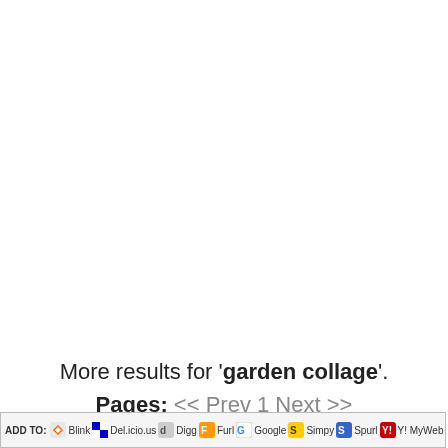More results for 'garden collage'. Pages:  << Prev 1 Next >>
ADD TO: Blink Del.icio.us Digg Furl Google Simpy Spurl Y! MyWeb